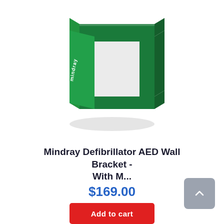[Figure (photo): Green metal Mindray Defibrillator AED Wall Bracket, a U-shaped green painted metal bracket with 'mindray' text on the front face, photographed on white background]
Mindray Defibrillator AED Wall Bracket - With M...
$169.00
Add to cart